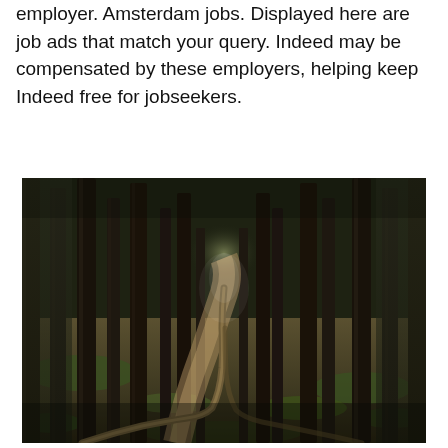employer. Amsterdam jobs. Displayed here are job ads that match your query. Indeed may be compensated by these employers, helping keep Indeed free for jobseekers.
[Figure (photo): A forest path winding through tall, dark tree trunks with green grass and moss on the ground. A curved wooden log or pipe borders the dirt path which winds into the distance between the trees.]